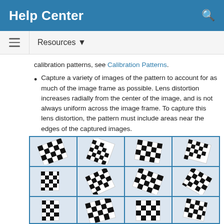Help Center
calibration patterns, see Calibration Patterns.
Capture a variety of images of the pattern to account for as much of the image frame as possible. Lens distortion increases radially from the center of the image, and is not always uniform across the image frame. To capture this lens distortion, the pattern must include areas near the edges of the captured images.
[Figure (photo): Grid of 12 images (3 rows x 4 columns) showing checkerboard calibration patterns in various orientations and positions within the frame, used for camera lens calibration.]